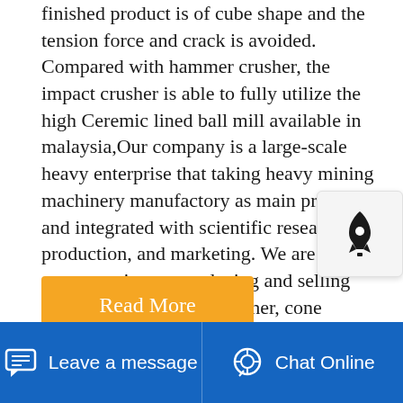finished product is of cube shape and the tension force and crack is avoided. Compared with hammer crusher, the impact crusher is able to fully utilize the high Ceremic lined ball mill available in malaysia,Our company is a large-scale heavy enterprise that taking heavy mining machinery manufactory as main products and integrated with scientific research, production, and marketing. We are concentrating on producing and selling machines such as jaw crusher, cone crusher, hammer crusher, ball mill, sand maker, mobile crushing plant
[Figure (other): Read More button - yellow/orange rectangular button with white text]
[Figure (other): Rocket icon widget - small floating widget with rocket icon]
[Figure (photo): Photo of crushed stone or rock aggregate material]
Leave a message   Chat Online